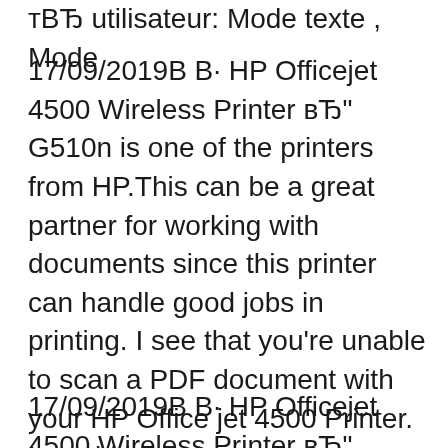тВЂ utilisateur: Mode texte , Mode
17/09/2019В В· HP Officejet 4500 Wireless Printer вЂ" G510n is one of the printers from HP.This can be a great partner for working with documents since this printer can handle good jobs in printing. I see that you're unable to scan a PDF document with your HP Office jet 4500 Printer. I would be happy to help you and please remember to return to this thread and mark ' Accept as Solution ', if I have successfully helped you resolve the issue. If you wish to say ' thanks ' for my effort to help, click the ' thumbs up ' to give me a Kudos.
17/09/2019В В· HP Officejet 4500 Wireless Printer вЂ" G510n is one of the printers from